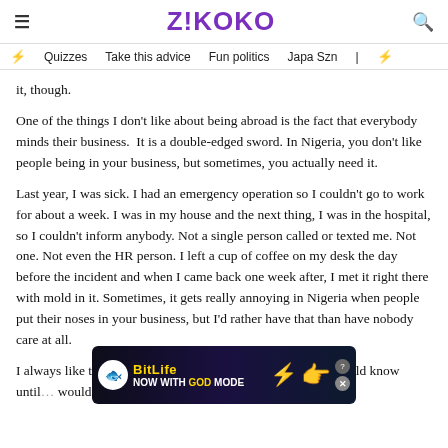ZIKOKO
Quizzes  Take this advice  Fun politics  Japa Szn
it, though.
One of the things I don't like about being abroad is the fact that everybody minds their business.  It is a double-edged sword. In Nigeria, you don't like people being in your business, but sometimes, you actually need it.
Last year, I was sick. I had an emergency operation so I couldn't go to work for about a week. I was in my house and the next thing, I was in the hospital, so I couldn't inform anybody. Not a single person called or texted me. Not one. Not even the HR person. I left a cup of coffee on my desk the day before the incident and when I came back one week after, I met it right there with mold in it. Sometimes, it gets really annoying in Nigeria when people put their noses in your business, but I'd rather have that than have nobody care at all.
I always like to say that if I died in my apartment, nobody would know until … would aut… landlord …